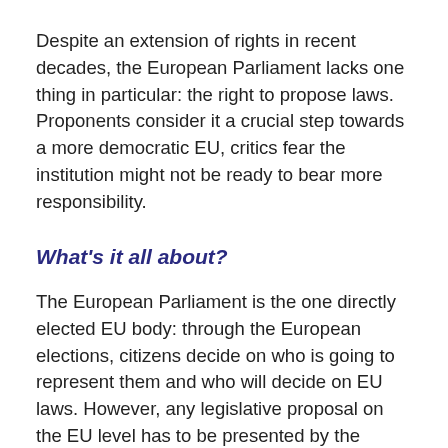Despite an extension of rights in recent decades, the European Parliament lacks one thing in particular: the right to propose laws. Proponents consider it a crucial step towards a more democratic EU, critics fear the institution might not be ready to bear more responsibility.
What's it all about?
The European Parliament is the one directly elected EU body: through the European elections, citizens decide on who is going to represent them and who will decide on EU laws. However, any legislative proposal on the EU level has to be presented by the European Commission. The laws are then passed by the European Parliament, together with the Council of Ministers. JEF, however, criticises the fact that the